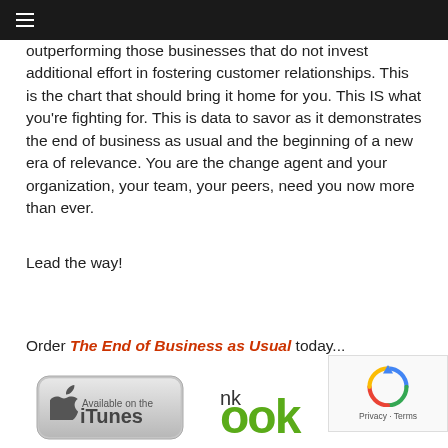≡
outperforming those businesses that do not invest additional effort in fostering customer relationships. This is the chart that should bring it home for you. This IS what you're fighting for. This is data to savor as it demonstrates the end of business as usual and the beginning of a new era of relevance. You are the change agent and your organization, your team, your peers, need you now more than ever.
Lead the way!
Order The End of Business as Usual today...
[Figure (logo): iTunes badge button]
[Figure (logo): Nook logo partial]
[Figure (other): reCAPTCHA privacy widget]